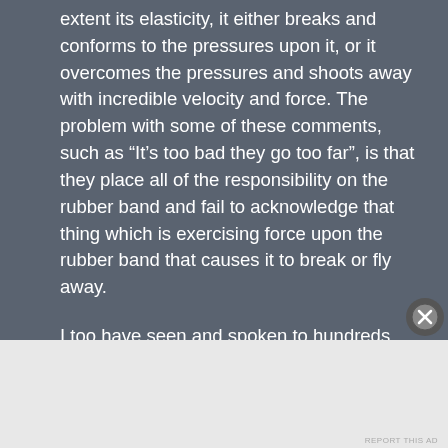extent its elasticity, it either breaks and conforms to the pressures upon it, or it overcomes the pressures and shoots away with incredible velocity and force. The problem with some of these comments, such as “It’s too bad they go too far”, is that they place all of the responsibility on the rubber band and fail to acknowledge that thing which is exercising force upon the rubber band that causes it to break or fly away.
I too have seen and spoken to hundreds who had left faith all together, or are left so damaged they can’t find faith or are so untrusting now that to them, placing their spiritual well being into the